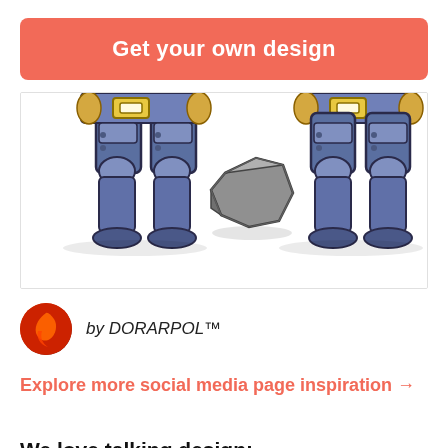Get your own design
[Figure (illustration): Two cartoon armored knight/golem characters from the lower body down, wearing blue/grey plate armor with yellow belt buckles. Between them is a large grey stone/rock. The figures are cropped at the waist showing legs and feet only.]
by DORARPOL™
Explore more social media page inspiration →
We love talking design: